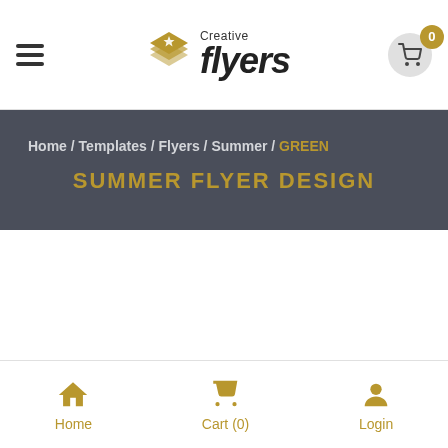Creative flyers — 0 items in cart
Home / Templates / Flyers / Summer / GREEN SUMMER FLYER DESIGN
GREEN SUMMER FLYER DESIGN
Home  Cart (0)  Login